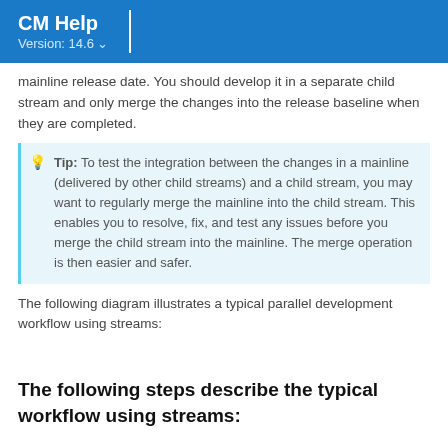CM Help
Version: 14.6
mainline release date. You should develop it in a separate child stream and only merge the changes into the release baseline when they are completed.
Tip: To test the integration between the changes in a mainline (delivered by other child streams) and a child stream, you may want to regularly merge the mainline into the child stream. This enables you to resolve, fix, and test any issues before you merge the child stream into the mainline. The merge operation is then easier and safer.
The following diagram illustrates a typical parallel development workflow using streams:
The following steps describe the typical workflow using streams: